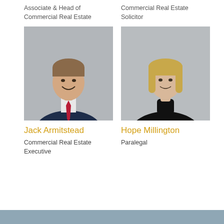Associate & Head of Commercial Real Estate
Commercial Real Estate Solicitor
[Figure (photo): Professional headshot of Jack Armitstead, a young man in a dark suit with a red tie, smiling, against a grey background]
[Figure (photo): Professional headshot of Hope Millington, a young woman with blonde hair wearing a black turtleneck, against a grey background]
Jack Armitstead
Hope Millington
Commercial Real Estate Executive
Paralegal